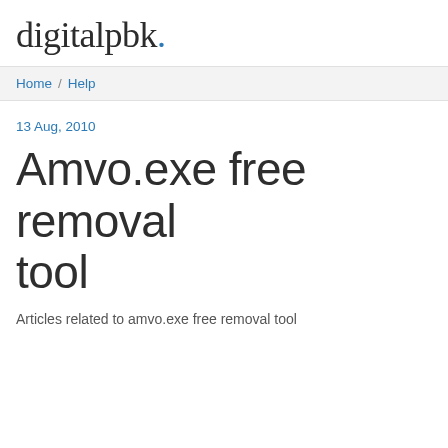digitalpbk.
Home / Help
13 Aug, 2010
Amvo.exe free removal tool
Articles related to amvo.exe free removal tool